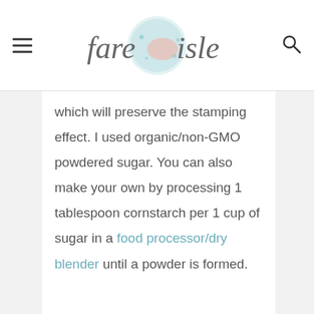fare isle
which will preserve the stamping effect. I used organic/non-GMO powdered sugar. You can also make your own by processing 1 tablespoon cornstarch per 1 cup of sugar in a food processor/dry blender until a powder is formed.